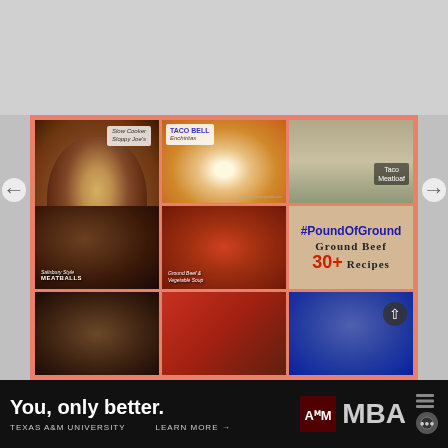[Figure (photo): Food recipe collage with coral/salmon border. Contains: large sloppy joe burger (Slow Cooker Sloppy Joes), Taco Bell Enchiritos, Taco Meatloaf, Salisbury-style Meatballs, Ground Beef & Vegetable Soup, and three bottom row food photos. Center-right panel shows text: #PoundOfGround, Ground Beef 30+ Recipes.]
#PoundOfGround
GROUND BEEF
30+ Recipes
[Figure (photo): Advertisement banner for Texas A&M University MBA program. Text: 'You, only better.' / TEXAS A&M UNIVERSITY / LEARN MORE → / Texas A&M logo / MBA]